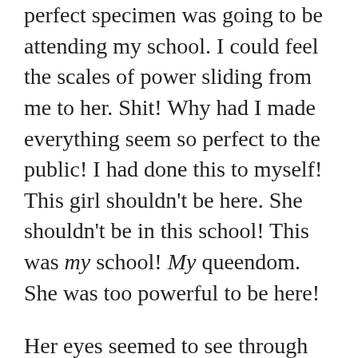perfect specimen was going to be attending my school. I could feel the scales of power sliding from me to her. Shit! Why had I made everything seem so perfect to the public! I had done this to myself! This girl shouldn't be here. She shouldn't be in this school! This was my school! My queendom. She was too powerful to be here!
Her eyes seemed to see through me, to know the effect she was having on me. I saw her gaze shift to look behind me. The principal! I had forgotten all about him with this goddess, Fiona, in the room. I followed the other girl's eyes, turning to glance at him.
He was shaking, pulsing. Oh my God! Was he having an orgasm? Geez! Just from looking at this